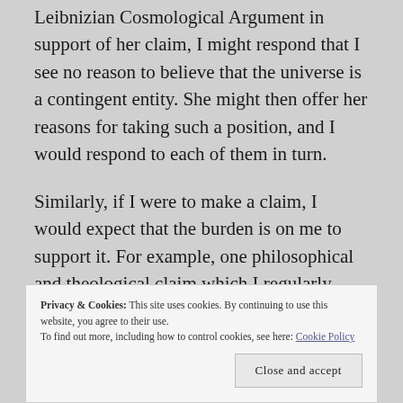Leibnizian Cosmological Argument in support of her claim, I might respond that I see no reason to believe that the universe is a contingent entity. She might then offer her reasons for taking such a position, and I would respond to each of them in turn.
Similarly, if I were to make a claim, I would expect that the burden is on me to support it. For example, one philosophical and theological claim which I regularly make is that “timeless causation” is an entirely incoherent phrase. If my dialogue partner replied, “I do
Privacy & Cookies: This site uses cookies. By continuing to use this website, you agree to their use.
To find out more, including how to control cookies, see here: Cookie Policy
Close and accept